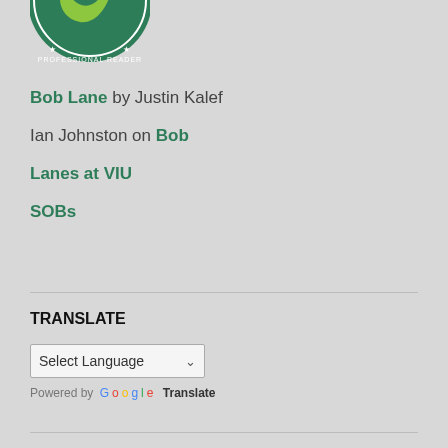[Figure (logo): Net Galley Professional Reader circular badge logo in green and white, partially cropped at top]
Bob Lane by Justin Kalef
Ian Johnston on Bob
Lanes at VIU
SOBs
TRANSLATE
Select Language
Powered by Google Translate